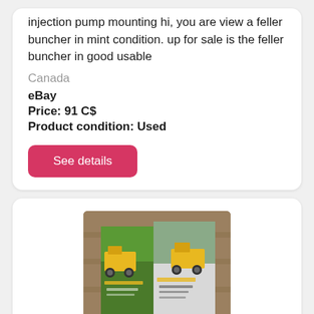injection pump mounting hi, you are view a feller buncher in mint condition. up for sale is the feller buncher in good usable
Canada
eBay
Price: 91 C$
Product condition: Used
[Figure (photo): Photo of two Tigercat Diecast vehicle brochures/booklets laid on a wooden surface, showing yellow construction/forestry vehicles on the covers.]
Two Tigercat Diecast Vehicles